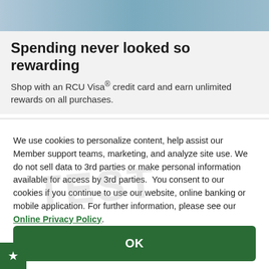[Figure (photo): Cropped photo of person(s) at top of page, partially visible, blue/teal tones]
Spending never looked so rewarding
Shop with an RCU Visa® credit card and earn unlimited rewards on all purchases.
We use cookies to personalize content, help assist our Member support teams, marketing, and analyze site use. We do not sell data to 3rd parties or make personal information available for access by 3rd parties. You consent to our cookies if you continue to use our website, online banking or mobile application. For further information, please see our Online Privacy Policy.
OK